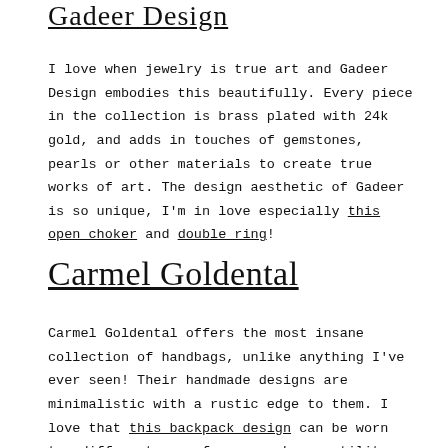Gadeer Design
I love when jewelry is true art and Gadeer Design embodies this beautifully. Every piece in the collection is brass plated with 24k gold, and adds in touches of gemstones, pearls or other materials to create true works of art. The design aesthetic of Gadeer is so unique, I'm in love especially this open choker and double ring!
Carmel Goldental
Carmel Goldental offers the most insane collection of handbags, unlike anything I've ever seen! Their handmade designs are minimalistic with a rustic edge to them. I love that this backpack design can be worn two different ways for so much versatility. And how gorgeous is this leather handbag,the design is so unique.